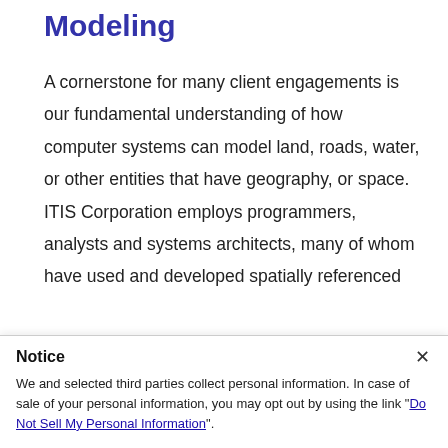Modeling
A cornerstone for many client engagements is our fundamental understanding of how computer systems can model land, roads, water, or other entities that have geography, or space. ITIS Corporation employs programmers, analysts and systems architects, many of whom have used and developed spatially referenced
Notice
We and selected third parties collect personal information. In case of sale of your personal information, you may opt out by using the link "Do Not Sell My Personal Information".